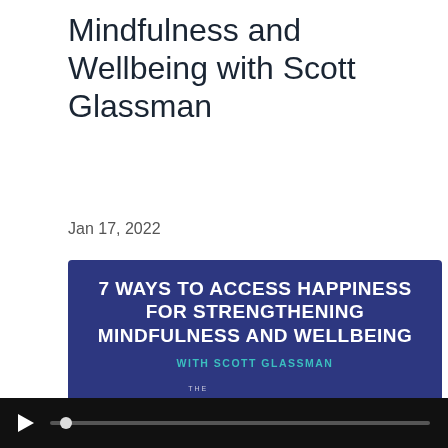Mindfulness and Wellbeing with Scott Glassman
Jan 17, 2022
[Figure (illustration): Podcast episode thumbnail with dark navy blue background. Bold white uppercase text reads '7 WAYS TO ACCESS HAPPINESS FOR STRENGTHENING MINDFULNESS AND WELLBEING' with cyan subtitle 'WITH SCOTT GLASSMAN' and the 'Mind Your Business Podcast' logo at the bottom.]